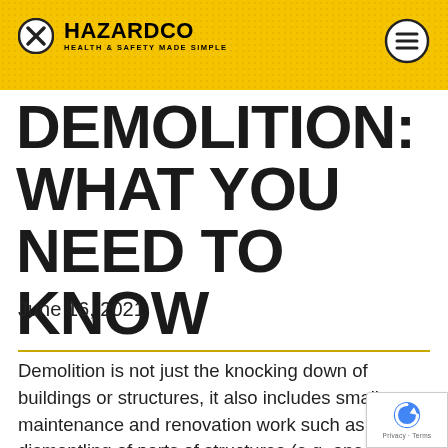HAZARDCO — HEALTH & SAFETY MADE SIMPLE
DEMOLITION: WHAT YOU NEED TO KNOW
June 16, 2021
Demolition is not just the knocking down of buildings or structures, it also includes smaller maintenance and renovation work such as the dismantling of parts of structures (e.g. one part of a steel-framed building) or the removal of w…